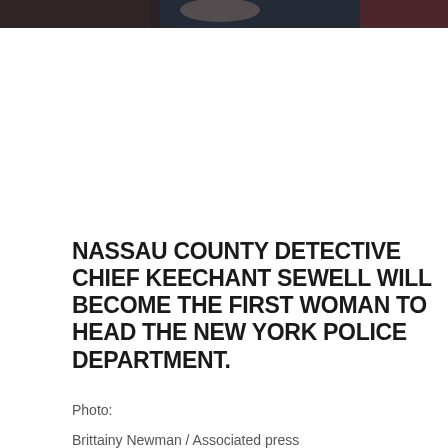[Figure (photo): Partial photo strip at top of page showing people, dark tones]
NASSAU COUNTY DETECTIVE CHIEF KEECHANT SEWELL WILL BECOME THE FIRST WOMAN TO HEAD THE NEW YORK POLICE DEPARTMENT.
Photo:
Brittainy Newman / Associated press